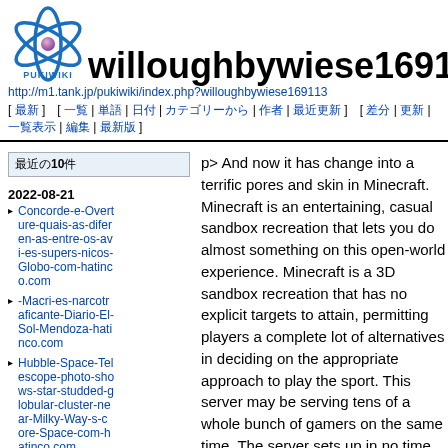[Figure (logo): PukiWiki logo — atom-like blue orbital rings with a pink/purple sphere in center, text PUKIWIKI below]
willoughbywiese169113
http://m1.tank.jp/pukiwiki/index.php?willoughbywiese169113
[ 最新 ] [ 一覧 | 単語 | 日付 | カテゴリーから | 作者 | 最近更新 ] [ 差分 | 更新 | 一覧表示 | 編集 | 最新版 ]
最近の10件
2022-08-21
Concorde-e-Overture-quais-as-diferentes-entre-os-avi-es-supers-nicos-Globo-com-hatinco.com
-Macri-es-narcotraficante-Diario-El-Sol-Mendoza-hatinco.com
Hubble-Space-Telescope-photo-shows-star-studded-globular-cluster-near-Milky-Way-s-core-Space-com-hatinco.com
Kommentar-zur-E
p> And now it has change into a terrific pores and skin in Minecraft. Minecraft is an entertaining, casual sandbox recreation that lets you do almost something on this open-world experience. Minecraft is a 3D sandbox recreation that has no explicit targets to attain, permitting players a complete lot of alternatives in deciding on the appropriate approach to play the sport. This server may be serving tens of a whole bunch of gamers on the same time. The server sets up in no time. https://www.vingle.net/posts/4156879 OS X users should also hold off for the